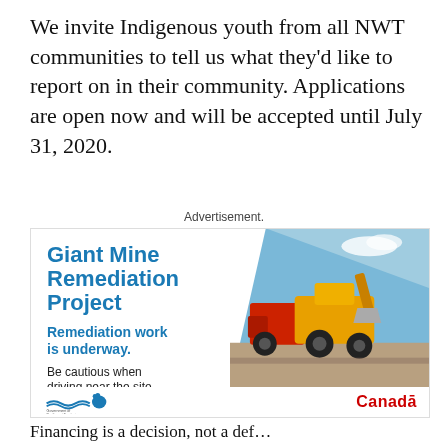We invite Indigenous youth from all NWT communities to tell us what they'd like to report on in their community. Applications are open now and will be accepted until July 31, 2020.
Advertisement.
[Figure (infographic): Giant Mine Remediation Project advertisement. Heading: 'Giant Mine Remediation Project'. Subheading: 'Remediation work is underway.' Body text: 'Be cautious when driving near the site.' Button: 'Learn more >', Photo of yellow and red heavy machinery on a construction site. Logos: Government of Northwest Territories and Canada wordmark.]
Financing is a decision, not a def...